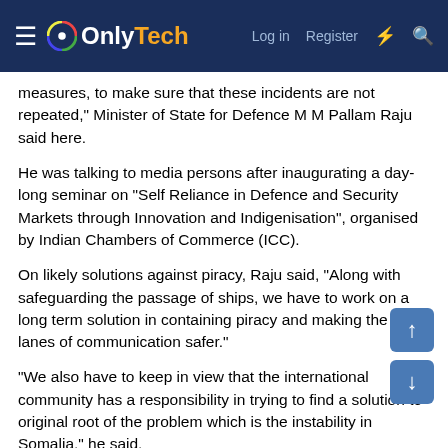OnlyTech — Log in | Register
measures, to make sure that these incidents are not repeated," Minister of State for Defence M M Pallam Raju said here.
He was talking to media persons after inaugurating a day-long seminar on "Self Reliance in Defence and Security Markets through Innovation and Indigenisation", organised by Indian Chambers of Commerce (ICC).
On likely solutions against piracy, Raju said, "Along with safeguarding the passage of ships, we have to work on a long term solution in containing piracy and making the sea lanes of communication safer."
"We also have to keep in view that the international community has a responsibility in trying to find a solution to original root of the problem which is the instability in Somalia," he said.
Stressing the need for an effective solution to deal with the problem of pirates, Raju said, "As government we are conscious